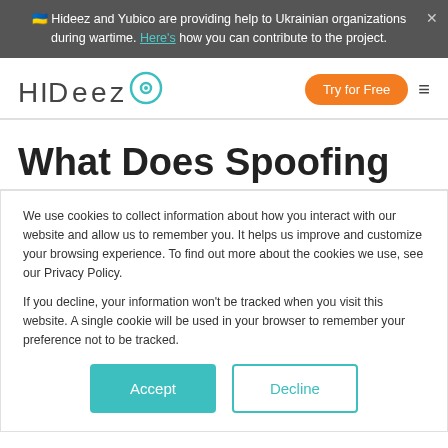🇺🇦 Hideez and Yubico are providing help to Ukrainian organizations during wartime. Here's how you can contribute to the project.
[Figure (logo): Hideez logo with teal circle/target icon]
What Does Spoofing
We use cookies to collect information about how you interact with our website and allow us to remember you. It helps us improve and customize your browsing experience. To find out more about the cookies we use, see our Privacy Policy.
If you decline, your information won't be tracked when you visit this website. A single cookie will be used in your browser to remember your preference not to be tracked.